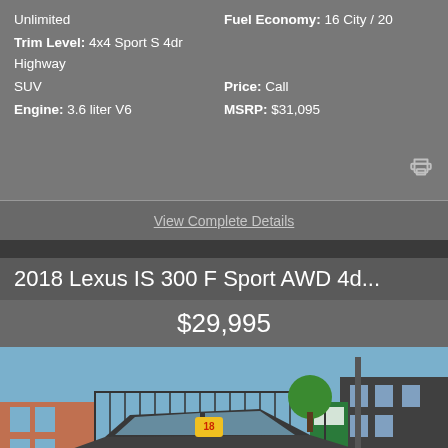Unlimited   Fuel Economy: 16 City / 20
Trim Level: 4x4 Sport S 4dr Highway
SUV   Price: Call
Engine: 3.6 liter V6   MSRP: $31,095
View Complete Details
2018 Lexus IS 300 F Sport AWD 4d...
$29,995
[Figure (photo): Photo of a dark grey 2018 Lexus IS 300 F Sport AWD sedan parked on a city street with a car lot in the background including buildings and signage. A yellow price sticker is visible on the windshield.]